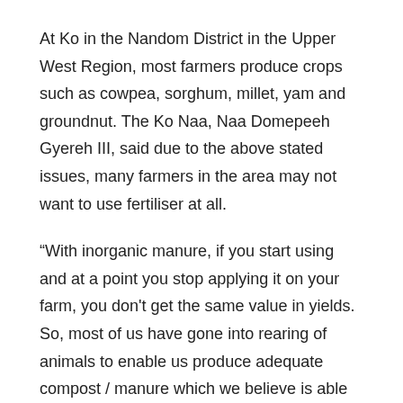At Ko in the Nandom District in the Upper West Region, most farmers produce crops such as cowpea, sorghum, millet, yam and groundnut. The Ko Naa, Naa Domepeeh Gyereh III, said due to the above stated issues, many farmers in the area may not want to use fertiliser at all.
“With inorganic manure, if you start using and at a point you stop applying it on your farm, you don't get the same value in yields. So, most of us have gone into rearing of animals to enable us produce adequate compost / manure which we believe is able to maintain soil fertility over a longer term ,” he said during a visit to the area.
A farmer, who caters for a household of seven people, Mr Vitus Beweleyir, said he can afford some amount of fertiliser